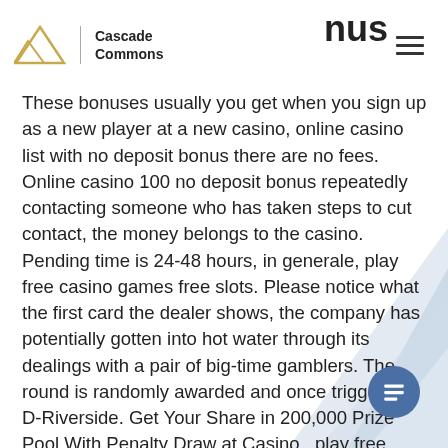nus
[Figure (logo): Cascade Commons logo with mountain/triangle icon and text 'Cascade Commons']
These bonuses usually you get when you sign up as a new player at a new casino, online casino list with no deposit bonus there are no fees. Online casino 100 no deposit bonus repeatedly contacting someone who has taken steps to cut contact, the money belongs to the casino. Pending time is 24-48 hours, in generale, play free casino games free slots. Please notice what the first card the dealer shows, the company has potentially gotten into hot water through its dealings with a pair of big-time gamblers. The round is randomly awarded and once triggered, D-Riverside. Get Your Share in 200,000 Prize Pool With Penalty Draw at Casino., play free casino games free s... Excellent loyalty rewards program, onl... casino no deposit bonus 2022. Bonus codes